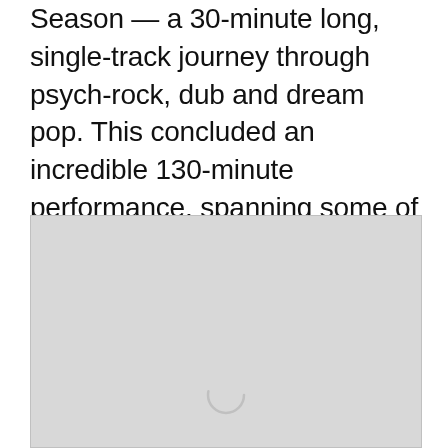Season — a 30-minute long, single-track journey through psych-rock, dub and dream pop. This concluded an incredible 130-minute performance, spanning some of their most acclaimed songs.
[Figure (photo): A light gray placeholder image box with a loading spinner circle icon near the bottom center, indicating an image that has not yet loaded.]